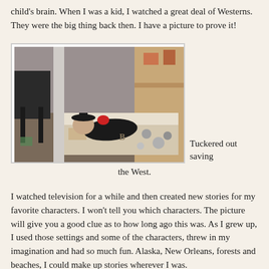child's brain. When I was a kid, I watched a great deal of Westerns. They were the big thing back then. I have a picture to prove it!
[Figure (photo): A child dressed in a black cowboy costume with a hat lying on a bed/cot on the floor, surrounded by toy pots and pans and other items, in a messy room.]
Tuckered out saving the West.
I watched television for a while and then created new stories for my favorite characters. I won't tell you which characters. The picture will give you a good clue as to how long ago this was. As I grew up, I used those settings and some of the characters, threw in my imagination and had so much fun. Alaska, New Orleans, forests and beaches, I could make up stories wherever I was.